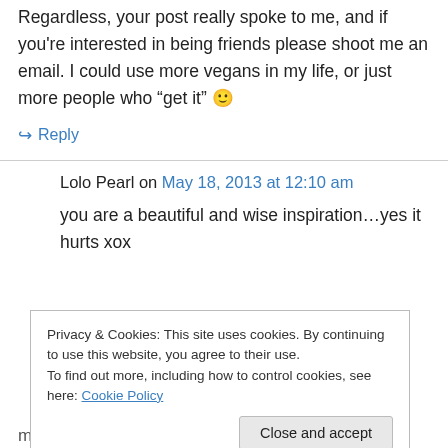Regardless, your post really spoke to me, and if you're interested in being friends please shoot me an email. I could use more vegans in my life, or just more people who “get it” 🙂
↪ Reply
Lolo Pearl on May 18, 2013 at 12:10 am
you are a beautiful and wise inspiration…yes it hurts xox
Privacy & Cookies: This site uses cookies. By continuing to use this website, you agree to their use.
To find out more, including how to control cookies, see here: Cookie Policy
Close and accept
many of our lives… we know something for